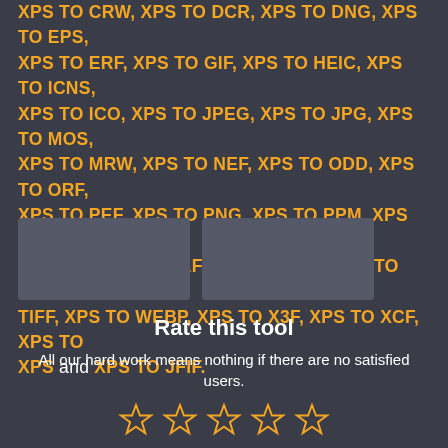XPS TO CRW, XPS TO DCR, XPS TO DNG, XPS TO EPS, XPS TO ERF, XPS TO GIF, XPS TO HEIC, XPS TO ICNS, XPS TO ICO, XPS TO JPEG, XPS TO JPG, XPS TO MOS, XPS TO MRW, XPS TO NEF, XPS TO ODD, XPS TO ORF, XPS TO PEF, XPS TO PNG, XPS TO PPM, XPS TO PS, XPS TO PSD, XPS TO RAF, XPS TO RAW, XPS TO TIF, XPS TO TIFF, XPS TO WEBP, XPS TO X3F, XPS TO XCF, XPS TO XPS and XPS TO JFIF.
Rate this tool
All our hard work means nothing if there are no satisfied users.